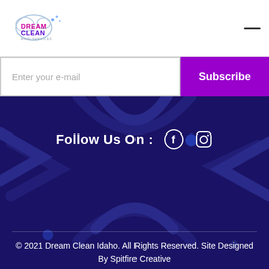[Figure (logo): Dream Clean Maid Services logo with cloud and bubbles graphic]
Enter your e-mail
Subscribe
Follow Us On :
[Figure (illustration): Decorative dark blue star/sparkle shapes on navy background]
© 2021 Dream Clean Idaho. All Rights Reserved. Site Designed By Spitfire Creative
Sitemap . Terms of Service . Privacy Policy . Refund Policy